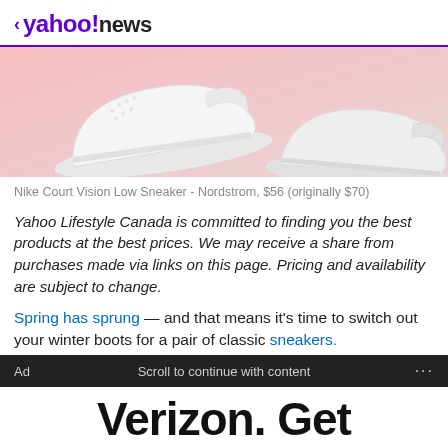< yahoo!news
[Figure (photo): Close-up photo of white Nike Court Vision Low sneakers on a pink background]
Nike Court Vision Low Sneaker - Nordstrom, $56 (originally $70)
Yahoo Lifestyle Canada is committed to finding you the best products at the best prices. We may receive a share from purchases made via links on this page. Pricing and availability are subject to change.
Spring has sprung — and that means it's time to switch out your winter boots for a pair of classic sneakers.
Ad   Scroll to continue with content   ...
Verizon. Get iPhone 13, on us